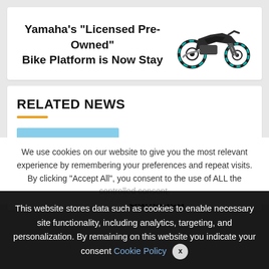Yamaha's “Licensed Pre-Owned” Bike Platform is Now Stay
[Figure (photo): Yamaha motorcycle, dark colour with teal/turquoise accents on wheels, side view]
RELATED NEWS
[Figure (photo): Bonneville Salt Flats sign photo with blue sky background]
2022 Bonneville Bike Velocity Trials Canceled
We use cookies on our website to give you the most relevant experience by remembering your preferences and repeat visits. By clicking “Accept All”, you consent to the use of ALL the controlled consent.
This website stores data such as cookies to enable necessary site functionality, including analytics, targeting, and personalization. By remaining on this website you indicate your consent Cookie Policy